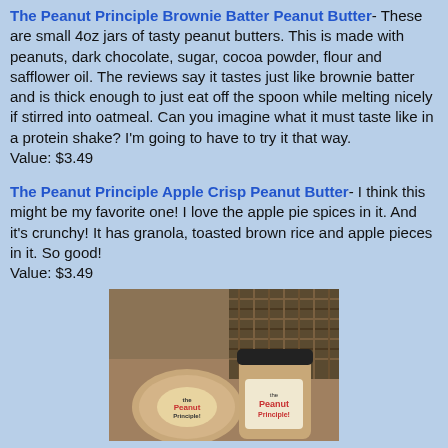The Peanut Principle Brownie Batter Peanut Butter- These are small 4oz jars of tasty peanut butters. This is made with peanuts, dark chocolate, sugar, cocoa powder, flour and safflower oil. The reviews say it tastes just like brownie batter and is thick enough to just eat off the spoon while melting nicely if stirred into oatmeal. Can you imagine what it must taste like in a protein shake? I'm going to have to try it that way.
Value: $3.49
The Peanut Principle Apple Crisp Peanut Butter- I think this might be my favorite one! I love the apple pie spices in it. And it's crunchy! It has granola, toasted brown rice and apple pieces in it. So good!
Value: $3.49
[Figure (photo): Photo of two Peanut Principle peanut butter jars on a wooden surface with a woven basket in the background]